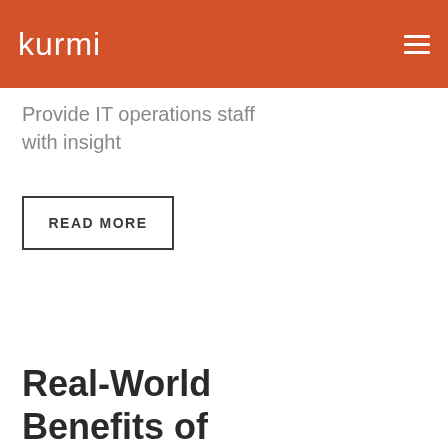kurmi
Provide IT operations staff with insight
READ MORE
Real-World Benefits of